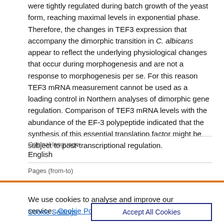were tightly regulated during batch growth of the yeast form, reaching maximal levels in exponential phase. Therefore, the changes in TEF3 expression that accompany the dimorphic transition in C. albicans appear to reflect the underlying physiological changes that occur during morphogenesis and are not a response to morphogenesis per se. For this reason TEF3 mRNA measurement cannot be used as a loading control in Northern analyses of dimorphic gene regulation. Comparison of TEF3 mRNA levels with the abundance of the EF-3 polypeptide indicated that the synthesis of this essential translation factor might be subject to post-transcriptional regulation.
| Original language |  |
| --- | --- |
| English |  |
| Pages (from-to) |  |
We use cookies to analyse and improve our service. Cookie Policy